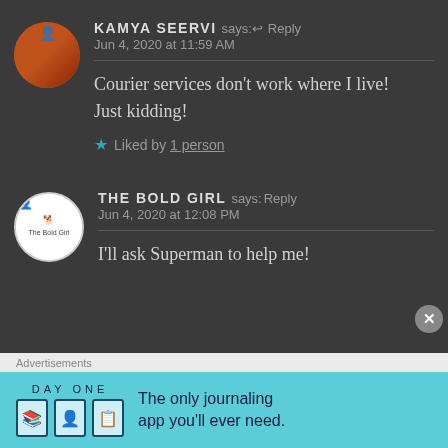KAMYA SEERVI says: ↩ Reply
Jun 4, 2020 at 11:59 AM
Courier services don't work where I live!
Just kidding!
★ Liked by 1 person
THE BOLD GIRL says: Reply
Jun 4, 2020 at 12:08 PM
I'll ask Superman to help me!
Advertisements
DAY ONE – The only journaling app you'll ever need.